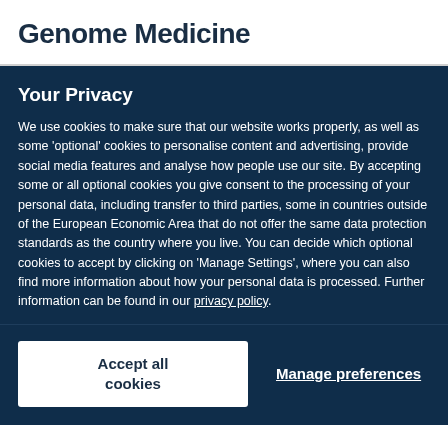Genome Medicine
Your Privacy
We use cookies to make sure that our website works properly, as well as some 'optional' cookies to personalise content and advertising, provide social media features and analyse how people use our site. By accepting some or all optional cookies you give consent to the processing of your personal data, including transfer to third parties, some in countries outside of the European Economic Area that do not offer the same data protection standards as the country where you live. You can decide which optional cookies to accept by clicking on 'Manage Settings', where you can also find more information about how your personal data is processed. Further information can be found in our privacy policy.
Accept all cookies
Manage preferences